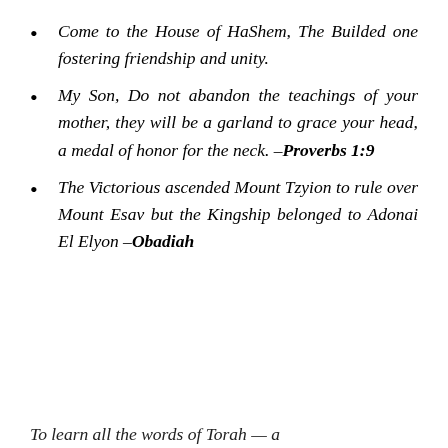Come to the House of HaShem, The Builded one fostering friendship and unity.
My Son, Do not abandon the teachings of your mother, they will be a garland to grace your head, a medal of honor for the neck. –Proverbs 1:9
The Victorious ascended Mount Tzyion to rule over Mount Esav but the Kingship belonged to Adonai El Elyon –Obadiah
To learn all the words of Torah — a